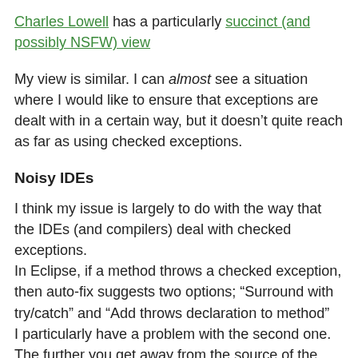Charles Lowell has a particularly succinct (and possibly NSFW) view
My view is similar. I can almost see a situation where I would like to ensure that exceptions are dealt with in a certain way, but it doesn't quite reach as far as using checked exceptions.
Noisy IDEs
I think my issue is largely to do with the way that the IDEs (and compilers) deal with checked exceptions.
In Eclipse, if a method throws a checked exception, then auto-fix suggests two options; “Surround with try/catch” and “Add throws declaration to method”
I particularly have a problem with the second one. The further you get away from the source of the exception, the less likely you are to deal with it in a useful way. Not dealing with the exception is a reasonable option, but why does everyone in the call chain need to know about an exception that someone in